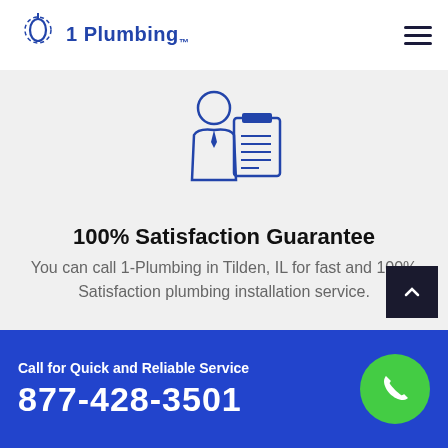[Figure (logo): 1 Plumbing logo with water drop and gear icon in blue]
[Figure (illustration): Blue outline icon of a person in suit with a clipboard/checklist]
100% Satisfaction Guarantee
You can call 1-Plumbing in Tilden, IL for fast and 100% Satisfaction plumbing installation service.
[Figure (illustration): Blue outline icon of a house with plumbing/pipe elements]
Call for Quick and Reliable Service
877-428-3501